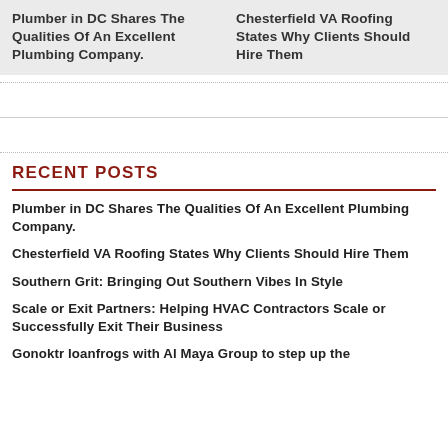Plumber in DC Shares The Qualities Of An Excellent Plumbing Company.
Chesterfield VA Roofing States Why Clients Should Hire Them
RECENT POSTS
Plumber in DC Shares The Qualities Of An Excellent Plumbing Company.
Chesterfield VA Roofing States Why Clients Should Hire Them
Southern Grit: Bringing Out Southern Vibes In Style
Scale or Exit Partners: Helping HVAC Contractors Scale or Successfully Exit Their Business
Gonoktr loanfrogs with Al Maya Group to step up the